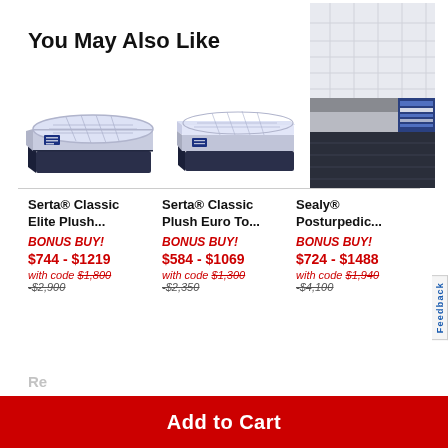You May Also Like
[Figure (photo): Serta Classic Elite Plush mattress product image]
[Figure (photo): Serta Classic Plush Euro Top mattress product image]
[Figure (photo): Sealy Posturpedic mattress corner product image]
Serta® Classic Elite Plush...
BONUS BUY!
$744 - $1219
with code $1,800
-$2,900
Serta® Classic Plush Euro To...
BONUS BUY!
$584 - $1069
with code $1,300
-$2,350
Sealy® Posturpedic...
BONUS BUY!
$724 - $1488
with code $1,940
-$4,100
Add to Cart